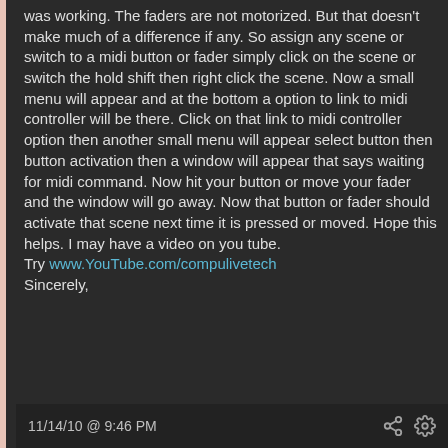was working. The faders are not motorized. But that doesn't make much of a difference if any. So assign any scene or switch to a midi button or fader simply click on the scene or switch the hold shift then right click the scene. Now a small menu will appear and at the bottom a option to link to midi controller will be there. Click on that link to midi controller option then another small menu will appear select button then button activation then a window will appear that says waiting for midi command. Now hit your button or move your fader and the window will go away. Now that button or fader should activate that scene next time it is pressed or moved. Hope this helps. I may have a video on you tube.
Try www.YouTube.com/compulivetech
Sincerely,
11/14/10 @ 9:46 PM